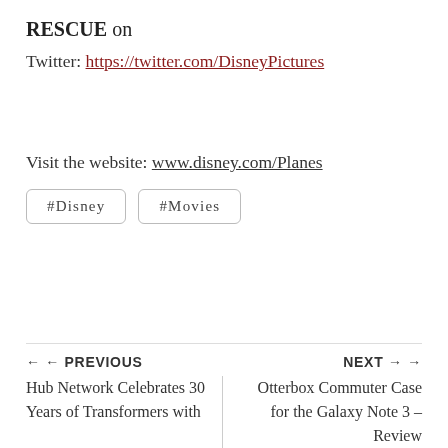RESCUE on
Twitter: https://twitter.com/DisneyPictures
Visit the website: www.disney.com/Planes
#Disney
#Movies
← PREVIOUS
NEXT →
Hub Network Celebrates 30 Years of Transformers with
Otterbox Commuter Case for the Galaxy Note 3 – Review